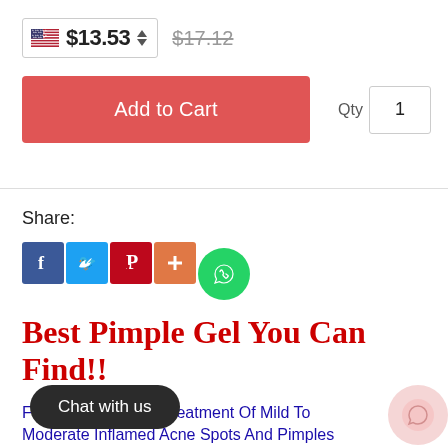$13.53  $17.12
Add to Cart   Qty 1
Share:
[Figure (infographic): Social share icons: Facebook (blue), Twitter (light blue), Pinterest (red), Plus/More (orange), WhatsApp (green circle)]
Best Pimple Gel You Can Find!!
F[ormulated] for The Treatment Of Mild To Moderate Inflamed Acne Spots And Pimples Clinically Proven, Effectively Reduces